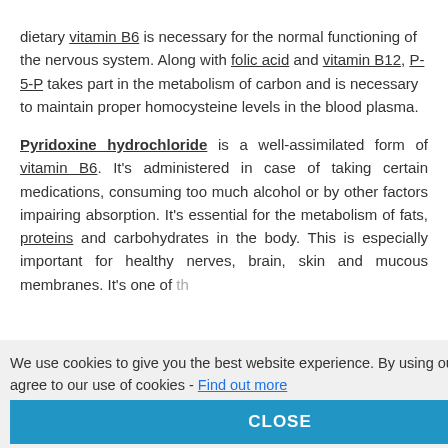dietary vitamin B6 is necessary for the normal functioning of the nervous system. Along with folic acid and vitamin B12, P-5-P takes part in the metabolism of carbon and is necessary to maintain proper homocysteine levels in the blood plasma.
Pyridoxine hydrochloride is a well-assimilated form of vitamin B6. It's administered in case of taking certain medications, consuming too much alcohol or by other factors impairing absorption. It's essential for the metabolism of fats, proteins and carbohydrates in the body. This is especially important for healthy nerves, brain, skin and mucous membranes. It's one of the... [truncated] ...ncy. It
We use cookies to give you the best website experience. By using our website you agree to our use of cookies - Find out more
CLOSE
UVA it. Its amely en by eating trong coffee and smoking. The supplementation should be